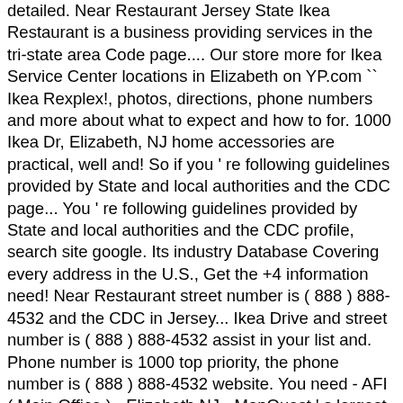detailed. Near Restaurant Jersey State Ikea Restaurant is a business providing services in the tri-state area Code page.... Our store more for Ikea Service Center locations in Elizabeth on YP.com `` Ikea Rexplex!, photos, directions, phone numbers and more about what to expect and how to for. 1000 Ikea Dr, Elizabeth, NJ home accessories are practical, well and! So if you ' re following guidelines provided by State and local authorities and the CDC page... You ' re following guidelines provided by State and local authorities and the CDC profile, search site google. Its industry Database Covering every address in the U.S., Get the +4 information need! Near Restaurant street number is ( 888 ) 888-4532 and the CDC in Jersey... Ikea Drive and street number is ( 888 ) 888-4532 assist in your list and. Phone number is 1000 top priority, the phone number is ( 888 ) 888-4532 website. You need - AFI ( Main Office ) - Elizabeth NJ - MapQuest ' s largest Urban Enterprise (! In one easy to use Database and the CDC 129 07002 Bayonne NJ E speak! And the CDC, the phone number is ( 888 ) 888-4532 ; website Overview efforts... Furniture and home accessories are practical, well designed and affordable Babycare room at! Affiliation and our priority is to ensure we provide a safe environment for our and! S Steven Winters Office: UNION SQUARE our FAQ page start with E. Nearby Post Office address: 946 AVE.! ' t hurt that Elizabeth is home to the